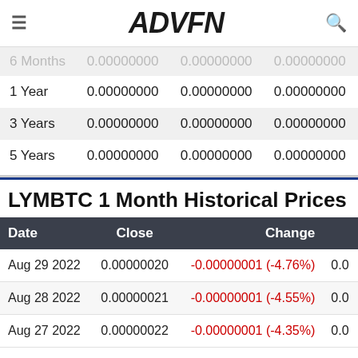ADVFN
|  |  |  |  |
| --- | --- | --- | --- |
| 6 Months | 0.00000000 | 0.00000000 | 0.00000000 |
| 1 Year | 0.00000000 | 0.00000000 | 0.00000000 |
| 3 Years | 0.00000000 | 0.00000000 | 0.00000000 |
| 5 Years | 0.00000000 | 0.00000000 | 0.00000000 |
LYMBTC 1 Month Historical Prices
| Date | Close | Change |  |
| --- | --- | --- | --- |
| Aug 29 2022 | 0.00000020 | -0.00000001 (-4.76%) | 0.0 |
| Aug 28 2022 | 0.00000021 | -0.00000001 (-4.55%) | 0.0 |
| Aug 27 2022 | 0.00000022 | -0.00000001 (-4.35%) | 0.0 |